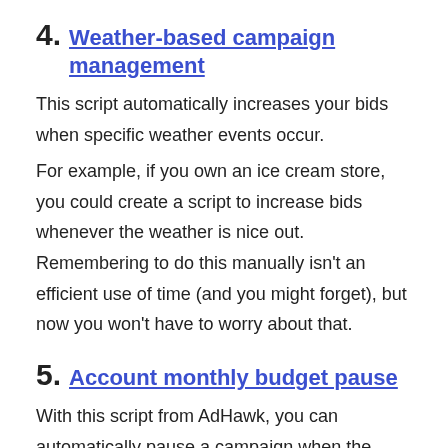4. Weather-based campaign management
This script automatically increases your bids when specific weather events occur.
For example, if you own an ice cream store, you could create a script to increase bids whenever the weather is nice out. Remembering to do this manually isn’t an efficient use of time (and you might forget), but now you won’t have to worry about that.
5. Account monthly budget pause
With this script from AdHawk, you can automatically pause a campaign when the